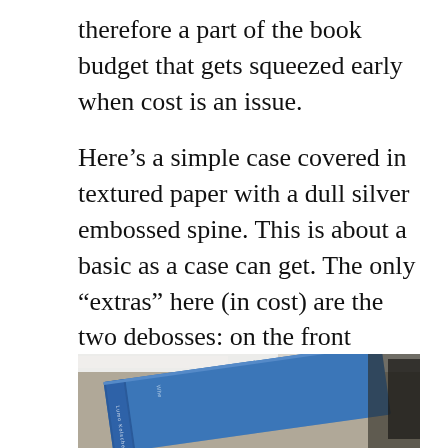therefore a part of the book budget that gets squeezed early when cost is an issue.
Here’s a simple case covered in textured paper with a dull silver embossed spine. This is about a basic as a case can get. The only “extras” here (in cost) are the two debosses: on the front cover, and on the lower back cover. Generally, a spine must have visible embossed text for the occasions when the book is separated from it’s clothing.
[Figure (photo): A blue hardcover book lying on a surface, showing its spine which has white embossed text. The book appears to be a case-bound hardcover with a plain blue cloth or paper covering.]